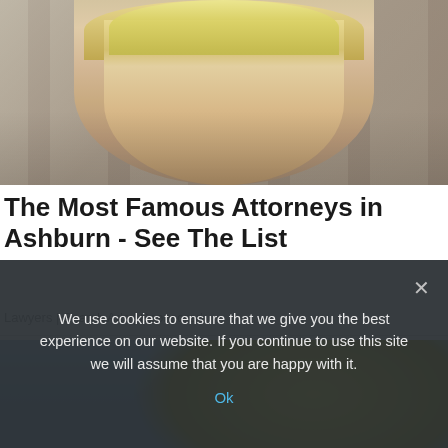[Figure (photo): Portrait photo of a blonde woman in front of stone columns, used as illustration for an attorney advertisement]
The Most Famous Attorneys in Ashburn - See The List
Lawyers | Search Ads | Sponsored
[Figure (photo): Partial photo with blue background and yellow/green object, partially obscured by cookie consent banner]
We use cookies to ensure that we give you the best experience on our website. If you continue to use this site we will assume that you are happy with it.
Ok